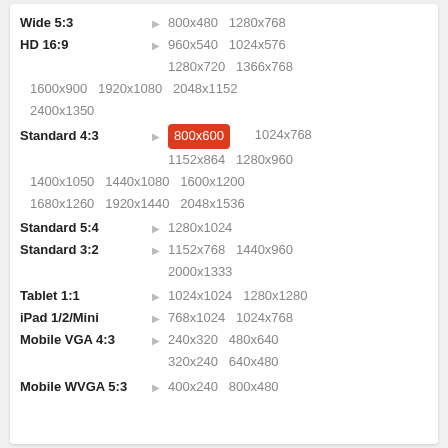Wide 5:3 ▶ 800x480  1280x768
HD 16:9 ▶ 960x540  1024x576  1280x720  1366x768  1600x900  1920x1080  2048x1152  2400x1350
Standard 4:3 ▶ 800x600 (highlighted)  1024x768  1152x864  1280x960  1400x1050  1440x1080  1600x1200  1680x1260  1920x1440  2048x1536
Standard 5:4 ▶ 1280x1024
Standard 3:2 ▶ 1152x768  1440x960  2000x1333
Tablet 1:1 ▶ 1024x1024  1280x1280
iPad 1/2/Mini ▶ 768x1024  1024x768
Mobile VGA 4:3 ▶ 240x320  480x640  320x240  640x480
Mobile WVGA 5:3 ▶ 400x240  800x480